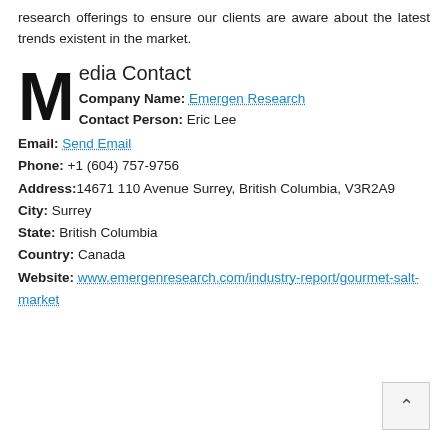research offerings to ensure our clients are aware about the latest trends existent in the market.
Media Contact
Company Name: Emergen Research
Contact Person: Eric Lee
Email: Send Email
Phone: +1 (604) 757-9756
Address:14671 110 Avenue Surrey, British Columbia, V3R2A9
City: Surrey
State: British Columbia
Country: Canada
Website: www.emergenresearch.com/industry-report/gourmet-salt-market